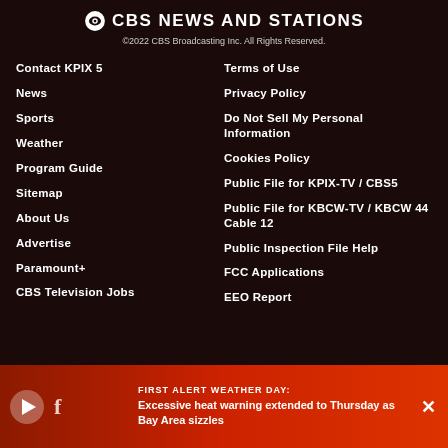CBS NEWS AND STATIONS
©2022 CBS Broadcasting Inc. All Rights Reserved.
Contact KPIX 5
News
Sports
Weather
Program Guide
Sitemap
About Us
Advertise
Paramount+
CBS Television Jobs
Terms of Use
Privacy Policy
Do Not Sell My Personal Information
Cookies Policy
Public File for KPIX-TV / CBS5
Public File for KBCW-TV / KBCW 44 Cable 12
Public Inspection File Help
FCC Applications
EEO Report
FIRST ALERT WEATHER DAY: Excessive heat warning extended to Thursday as Bay Area sizzles